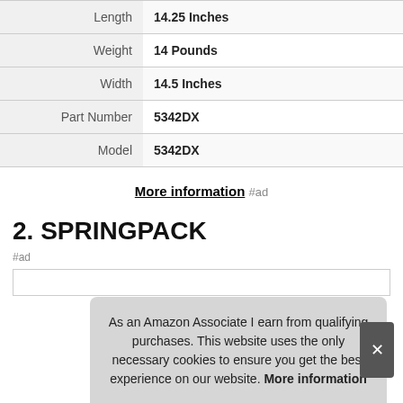| Attribute | Value |
| --- | --- |
| Length | 14.25 Inches |
| Weight | 14 Pounds |
| Width | 14.5 Inches |
| Part Number | 5342DX |
| Model | 5342DX |
More information #ad
2. SPRINGPACK
#ad
As an Amazon Associate I earn from qualifying purchases. This website uses the only necessary cookies to ensure you get the best experience on our website. More information